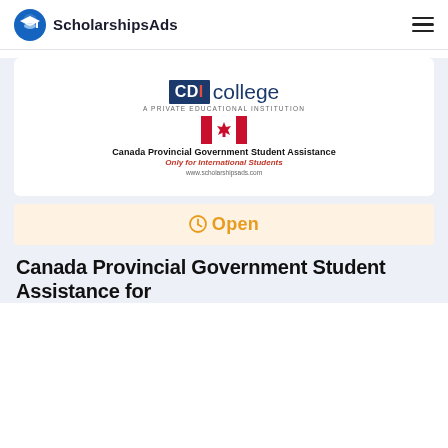ScholarshipsAds
[Figure (logo): CDI College logo with Canadian flag and text: Canada Provincial Government Student Assistance - Only for International Students - www.scholarshipsads.com]
Open
Canada Provincial Government Student Assistance for